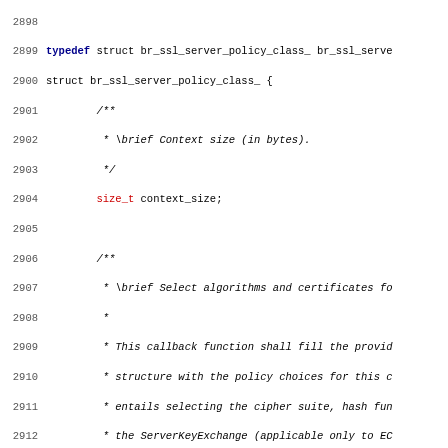Source code listing showing struct br_ssl_server_policy_class_ definition with documentation comments, lines 2898-2930